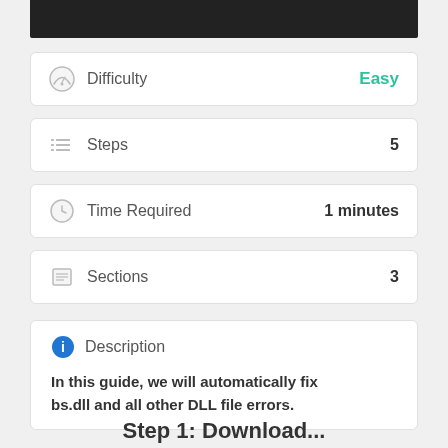[Figure (photo): Dark/black image banner at top of page]
| Difficulty | Easy |
| Steps | 5 |
| Time Required | 1 minutes |
| Sections | 3 |
Description
In this guide, we will automatically fix bs.dll and all other DLL file errors.
Step 1: Download...